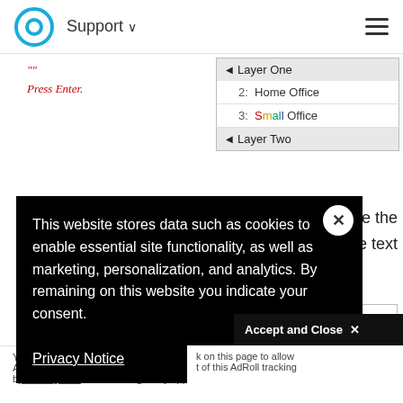Support ▾
Press Enter.
[Figure (screenshot): Layer panel showing Layer One (selected), sub-items: 2: Home Office, 3: Small Office, and Layer Two]
...and type the ...ne text
[Figure (screenshot): Cookie consent overlay on black background: 'This website stores data such as cookies to enable essential site functionality, as well as marketing, personalization, and analytics. By remaining on this website you indicate your consent.' with Privacy Notice link and close X button]
Accept and Close ✕
r customers, terprise
Y A b... k on this page to allow t of this AdRoll tracking by clicking here. This message only appears once.